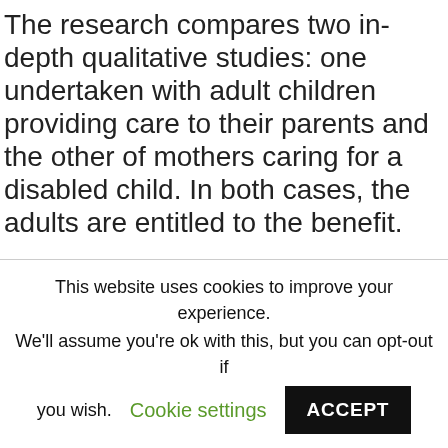The research compares two in-depth qualitative studies: one undertaken with adult children providing care to their parents and the other of mothers caring for a disabled child. In both cases, the adults are entitled to the benefit.
Analysis of narrative and in-depth interviews with forty-eight informal caregivers showed that daughters
This website uses cookies to improve your experience. We'll assume you're ok with this, but you can opt-out if you wish. Cookie settings ACCEPT